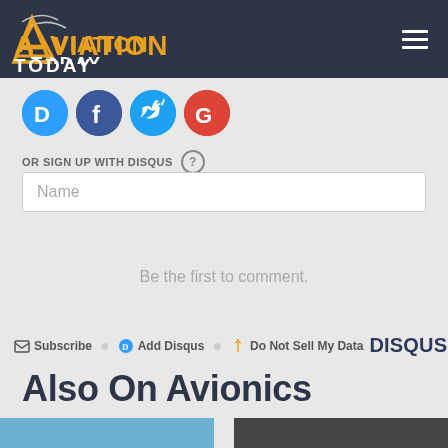Aviation Today
[Figure (logo): Social login icons: Disqus (blue D), Facebook (dark blue f), Twitter (light blue bird), Google (red G)]
OR SIGN UP WITH DISQUS
Name
Be the first to comment.
Subscribe   Add Disqus   Do Not Sell My Data   DISQUS
Also On Avionics